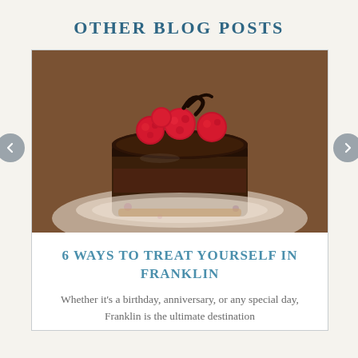OTHER BLOG POSTS
[Figure (photo): Close-up photo of a small chocolate cake topped with fresh raspberries and dark chocolate decorations, sitting on a decorative plate.]
6 WAYS TO TREAT YOURSELF IN FRANKLIN
Whether it's a birthday, anniversary, or any special day, Franklin is the ultimate destination